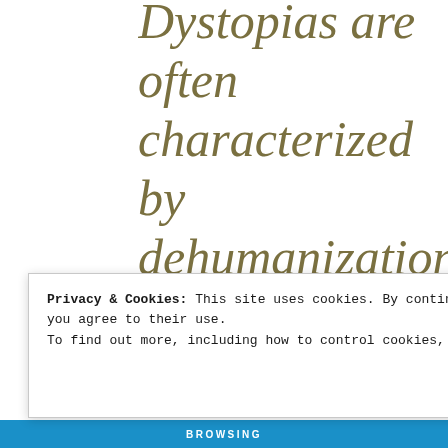Dystopias are often characterized by dehumanization, totalitarian g… disaster, or other characteristics associated with a cataclysmic decline in society. Dystopian societies appear in many sub-
Privacy & Cookies: This site uses cookies. By continuing to use this website, you agree to their use. To find out more, including how to control cookies, see here: Cookie Policy